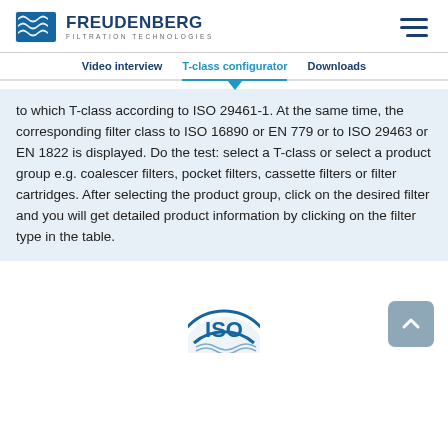FREUDENBERG FILTRATION TECHNOLOGIES
Video interview   T-class configurator   Downloads
to which T-class according to ISO 29461-1. At the same time, the corresponding filter class to ISO 16890 or EN 779 or to ISO 29463 or EN 1822 is displayed. Do the test: select a T-class or select a product group e.g. coalescer filters, pocket filters, cassette filters or filter cartridges. After selecting the product group, click on the desired filter and you will get detailed product information by clicking on the filter type in the table.
[Figure (logo): Partial ISO certification logo at the bottom center of the page]